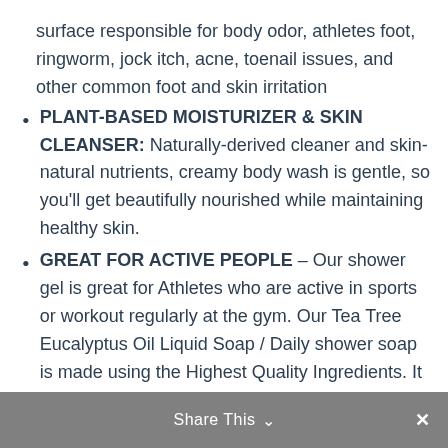surface responsible for body odor, athletes foot, ringworm, jock itch, acne, toenail issues, and other common foot and skin irritation
PLANT-BASED MOISTURIZER & SKIN CLEANSER: Naturally-derived cleaner and skin-natural nutrients, creamy body wash is gentle, so you'll get beautifully nourished while maintaining healthy skin.
GREAT FOR ACTIVE PEOPLE – Our shower gel is great for Athletes who are active in sports or workout regularly at the gym. Our Tea Tree Eucalyptus Oil Liquid Soap / Daily shower soap is made using the Highest Quality Ingredients. It does not contain alcohol, parabens or sulfates and is Cruelty Free. Made in USA.
Share This ∨  ✕